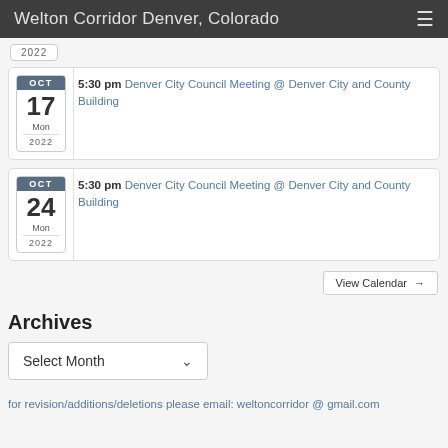Welton Corridor Denver, Colorado
2022
5:30 pm Denver City Council Meeting @ Denver City and County Building — OCT 17 Mon 2022
5:30 pm Denver City Council Meeting @ Denver City and County Building — OCT 24 Mon 2022
View Calendar →
Archives
Select Month
for revision/additions/deletions please email: weltoncorridor @ gmail.com